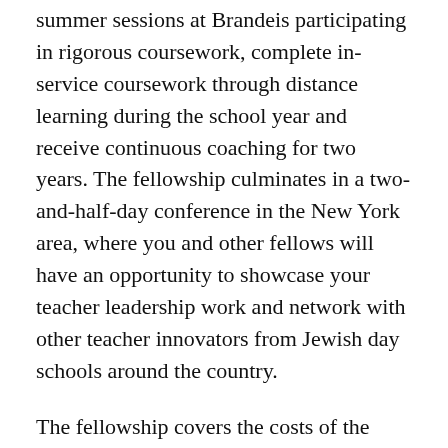summer sessions at Brandeis participating in rigorous coursework, complete in-service coursework through distance learning during the school year and receive continuous coaching for two years. The fellowship culminates in a two-and-half-day conference in the New York area, where you and other fellows will have an opportunity to showcase your teacher leadership work and network with other teacher innovators from Jewish day schools around the country.
The fellowship covers the costs of the program, which includes room and board at Brandeis for two summers and transportation to and from Boston.